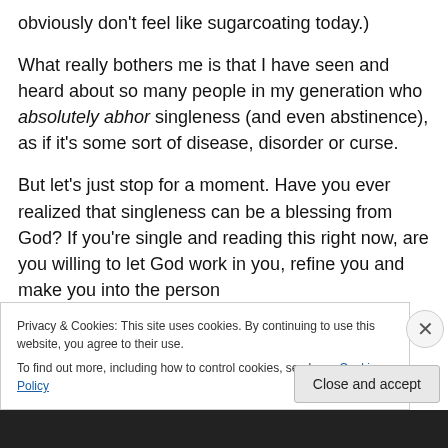obviously don't feel like sugarcoating today.)
What really bothers me is that I have seen and heard about so many people in my generation who absolutely abhor singleness (and even abstinence), as if it's some sort of disease, disorder or curse.
But let's just stop for a moment. Have you ever realized that singleness can be a blessing from God? If you're single and reading this right now, are you willing to let God work in you, refine you and make you into the person
Privacy & Cookies: This site uses cookies. By continuing to use this website, you agree to their use.
To find out more, including how to control cookies, see here: Cookie Policy
Close and accept